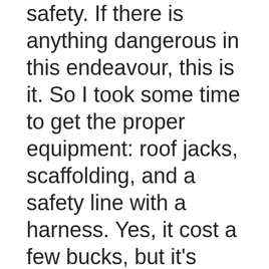safety. If there is anything dangerous in this endeavour, this is it. So I took some time to get the proper equipment: roof jacks, scaffolding, and a safety line with a harness. Yes, it cost a few bucks, but it's cheap insurance. As I have mentioned in previous posts, I'm a bit obsessed with safety. The other nifty tool that I got was a roofing shovel. This tool has a notched spade that you ram underneath the